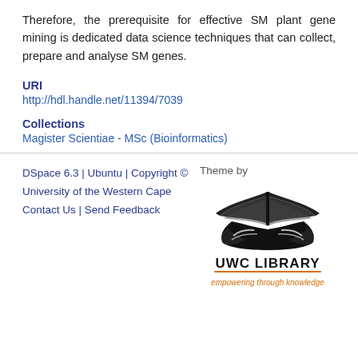Therefore, the prerequisite for effective SM plant gene mining is dedicated data science techniques that can collect, prepare and analyse SM genes.
URI
http://hdl.handle.net/11394/7039
Collections
Magister Scientiae - MSc (Bioinformatics)
DSpace 6.3 | Ubuntu | Copyright © Theme by University of the Western Cape Contact Us | Send Feedback
[Figure (logo): UWC Library logo with an open book and hands silhouette, text 'UWC LIBRARY' and 'empowering through knowledge' in orange]